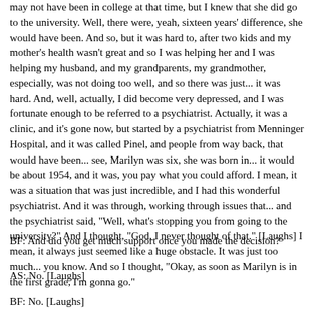may not have been in college at that time, but I knew that she did go to the university. Well, there were, yeah, sixteen years' difference, she would have been. And so, but it was hard to, after two kids and my mother's health wasn't great and so I was helping her and I was helping my husband, and my grandparents, my grandmother, especially, was not doing too well, and so there was just... it was hard. And, well, actually, I did become very depressed, and I was fortunate enough to be referred to a psychiatrist. Actually, it was a clinic, and it's gone now, but started by a psychiatrist from Menninger Hospital, and it was called Pinel, and people from way back, that would have been... see, Marilyn was six, she was born in... it would be about 1954, and it was, you pay what you could afford. I mean, it was a situation that was just incredible, and I had this wonderful psychiatrist. And it was through, working through issues that... and the psychiatrist said, "Well, what's stopping you from going to the university?" And I thought, "God, I never thought of that." [Laughs] I mean, it always just seemed like a huge obstacle. It was just too much... you know. And so I thought, "Okay, as soon as Marilyn is in the first grade, I'm gonna go."
BF: And did you get much support once you made the decision?
AS: No. [Laughs]
BF: No. [Laughs]